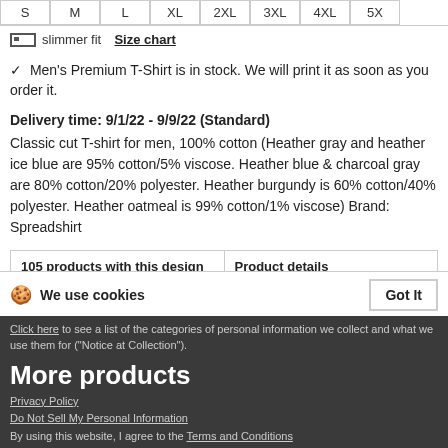| S | M | L | XL | 2XL | 3XL | 4XL | 5X |
| --- | --- | --- | --- | --- | --- | --- | --- |
slimmer fit  Size chart
✓ Men's Premium T-Shirt is in stock. We will print it as soon as you order it.
Delivery time: 9/1/22 - 9/9/22 (Standard)
Classic cut T-shirt for men, 100% cotton (Heather gray and heather ice blue are 95% cotton/5% viscose. Heather blue & charcoal gray are 80% cotton/20% polyester. Heather burgundy is 60% cotton/40% polyester. Heather oatmeal is 99% cotton/1% viscose) Brand: Spreadshirt
105 products with this design
Product details
We use cookies
Got It
Click here to see a list of the categories of personal information we collect and what we use them for ("Notice at Collection").
More products
Privacy Policy
Do Not Sell My Personal Information
By using this website, I agree to the Terms and Conditions